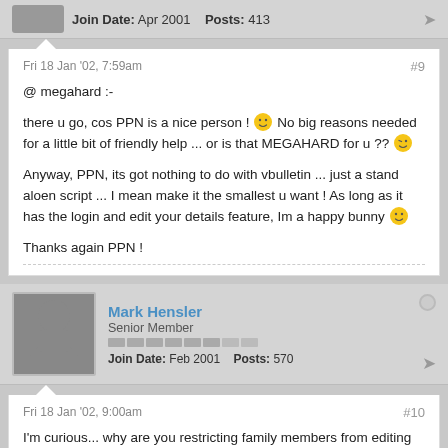Join Date: Apr 2001   Posts: 413
Fri 18 Jan '02, 7:59am
#9
@ megahard :-
there u go, cos PPN is a nice person ! No big reasons needed for a little bit of friendly help ... or is that MEGAHARD for u ??
Anyway, PPN, its got nothing to do with vbulletin ... just a stand aloen script ... I mean make it the smallest u want ! As long as it has the login and edit your details feature, Im a happy bunny
Thanks again PPN !
Mark Hensler
Senior Member
Join Date: Feb 2001   Posts: 570
Fri 18 Jan '02, 9:00am
#10
I'm curious... why are you restricting family members from editing each others info?